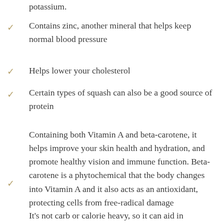potassium.
Contains zinc, another mineral that helps keep normal blood pressure
Helps lower your cholesterol
Certain types of squash can also be a good source of protein
Containing both Vitamin A and beta-carotene, it helps improve your skin health and hydration, and promote healthy vision and immune function. Beta-carotene is a phytochemical that the body changes into Vitamin A and it also acts as an antioxidant, protecting cells from free-radical damage
It's not carb or calorie heavy, so it can aid in